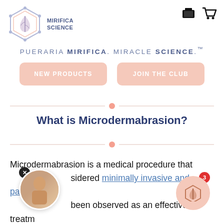[Figure (logo): Mirifica Science hexagon logo with leaf icon and text MIRIFICA SCIENCE]
PUERARIA MIRIFICA. MIRACLE SCIENCE.™
NEW PRODUCTS
JOIN THE CLUB
What is Microdermabrasion?
Microdermabrasion is a medical procedure that sidered minimally invasive and painless been observed as an effective treatm procedure for treating white stretch marks.